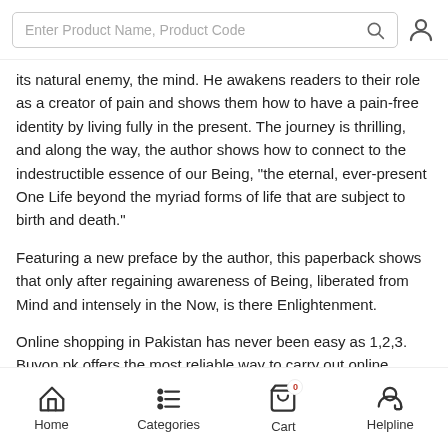Enter Product Name, Product Code
its natural enemy, the mind. He awakens readers to their role as a creator of pain and shows them how to have a pain-free identity by living fully in the present. The journey is thrilling, and along the way, the author shows how to connect to the indestructible essence of our Being, "the eternal, ever-present One Life beyond the myriad forms of life that are subject to birth and death."
Featuring a new preface by the author, this paperback shows that only after regaining awareness of Being, liberated from Mind and intensely in the Now, is there Enlightenment.
Online shopping in Pakistan has never been easy as 1,2,3.
Buyon.pk offers the most reliable way to carry out online shopping.
Home   Categories   Cart   Helpline